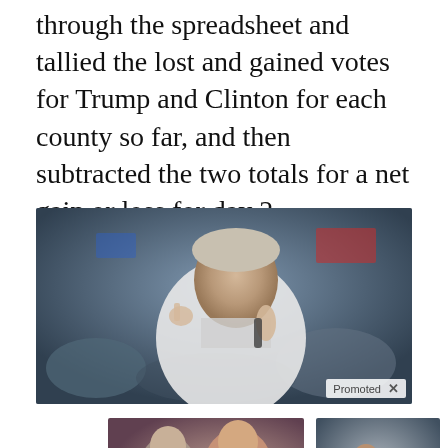through the spreadsheet and tallied the lost and gained votes for Trump and Clinton for each county so far, and then subtracted the two totals for a net gain or loss for day 2.
[Figure (photo): Man in white shirt speaking into a microphone and pointing, with a crowd in the background. A 'Promoted X' badge is visible in the lower right corner.]
[Figure (photo): Ad thumbnail: Two people at a campaign event, with a video play button overlay. Caption: Democrats Want This Video Destroyed — Watch Now Before It's Banned. Count: 166,543]
Democrats Want This Video Destroyed — Watch Now Before It's Banned
🔥 166,543
[Figure (photo): Ad thumbnail: Person seated, head down. Caption: How Your Body Warns You That Dementia Is Forming. Count: 40,961]
How Your Body Warns You That Dementia Is Forming
🔥 40,961